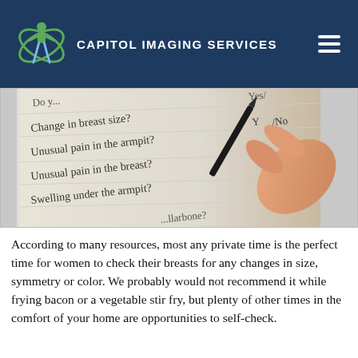CAPITOL IMAGING SERVICES
[Figure (photo): A person holding a pen filling out a medical questionnaire with questions about breast health symptoms including 'Change in breast size?', 'Unusual pain in the armpit?', 'Unusual pain in the breast?', 'Swelling under the armpit?' with Yes/No columns]
According to many resources, most any private time is the perfect time for women to check their breasts for any changes in size, symmetry or color. We probably would not recommend it while frying bacon or a vegetable stir fry, but plenty of other times in the comfort of your home are opportunities to self-check.